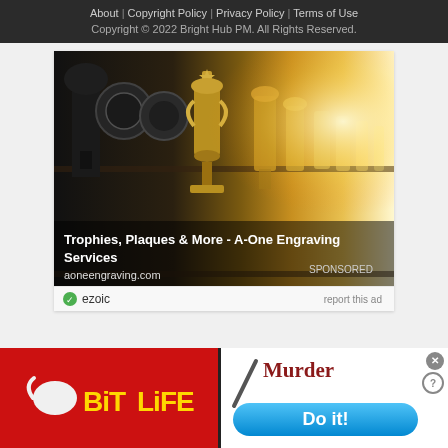About | Copyright Policy | Privacy Policy | Terms of Use
Copyright © 2022 Bright Hub PM. All Rights Reserved.
[Figure (photo): Advertisement image showing rows of trophies and plaques on shelves with warm golden lighting. Overlay text reads 'Trophies, Plaques & More - A-One Engraving Services'. URL: aoneengraving.com. SPONSORED label. ezoic badge.]
[Figure (infographic): BitLife game advertisement banner. Left half: red background with BitLife logo in gold text and a sperm icon. Right half: white background with 'Murder' text in dark red and a 'Do it!' blue pill-shaped button. Close and help buttons in top right.]